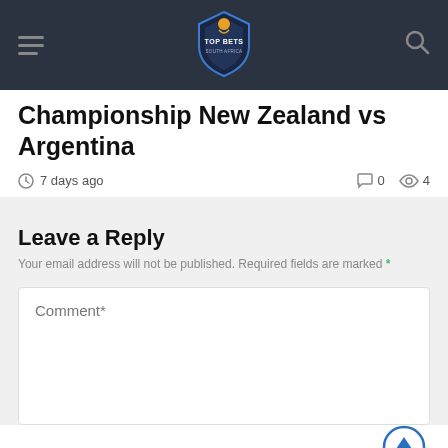Top Bets South Africa — navigation bar with hamburger menu and search icon
Championship New Zealand vs Argentina
7 days ago   0   4
Leave a Reply
Your email address will not be published. Required fields are marked *
Comment*